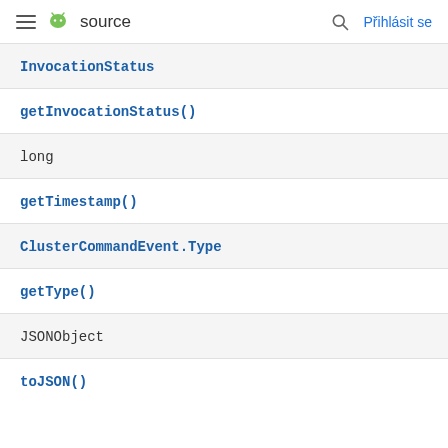≡ 🤖 source   🔍  Přihlásit se
InvocationStatus
getInvocationStatus()
long
getTimestamp()
ClusterCommandEvent.Type
getType()
JSONObject
toJSON()